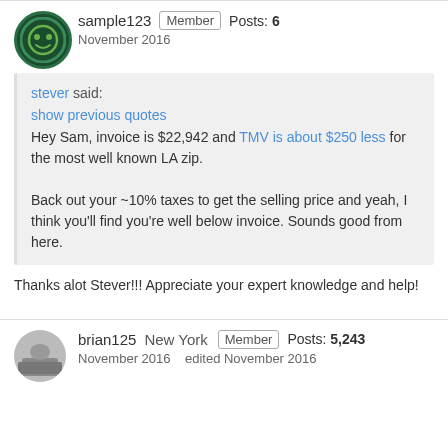sample123  Member  Posts: 6
November 2016
stever said:
show previous quotes
Hey Sam, invoice is $22,942 and TMV is about $250 less for the most well known LA zip.

Back out your ~10% taxes to get the selling price and yeah, I think you'll find you're well below invoice. Sounds good from here.
Thanks alot Stever!!! Appreciate your expert knowledge and help!
brian125  New York  Member  Posts: 5,243
November 2016  edited November 2016